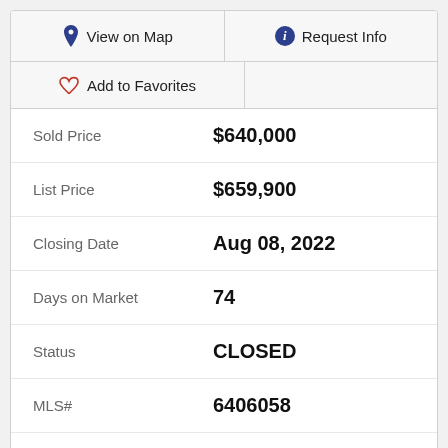View on Map
Request Info
Add to Favorites
| Field | Value |
| --- | --- |
| Sold Price | $640,000 |
| List Price | $659,900 |
| Closing Date | Aug 08, 2022 |
| Days on Market | 74 |
| Status | CLOSED |
| MLS# | 6406058 |
| City | Chandler |